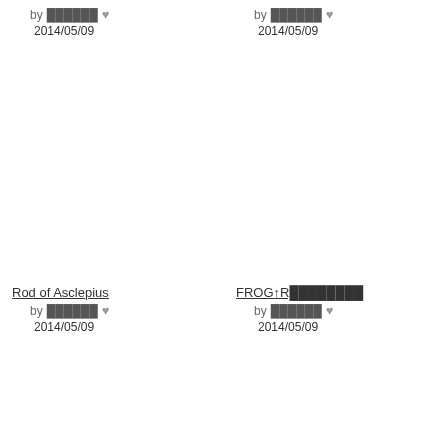by ██████ ♥ 2014/05/09
by ██████ ♥ 2014/05/09
Rod of Asclepius
by ██████ ♥ 2014/05/09
FROG↑R████████
by ██████ ♥ 2014/05/09